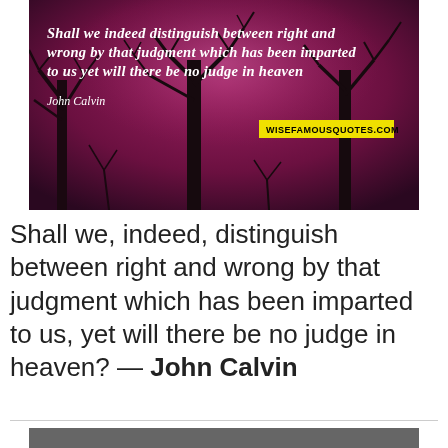[Figure (photo): Dark purple/magenta photo of bare winter trees silhouetted against a moody sky, with overlaid italic white text quote by John Calvin and a wisefamousquotes.com watermark.]
Shall we, indeed, distinguish between right and wrong by that judgment which has been imparted to us, yet will there be no judge in heaven? — John Calvin